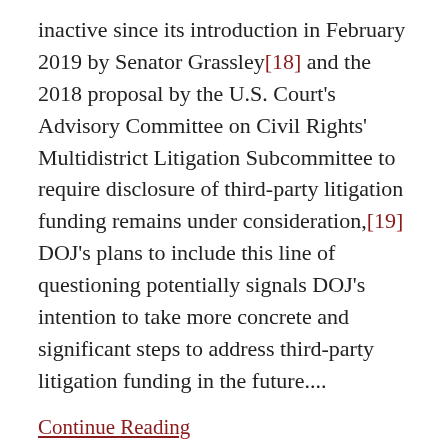inactive since its introduction in February 2019 by Senator Grassley[18] and the 2018 proposal by the U.S. Court's Advisory Committee on Civil Rights' Multidistrict Litigation Subcommittee to require disclosure of third-party litigation funding remains under consideration,[19] DOJ's plans to include this line of questioning potentially signals DOJ's intention to take more concrete and significant steps to address third-party litigation funding in the future....
Continue Reading
DOJ False Claims Act Recoveries FY 2019: Total Collections Rise –